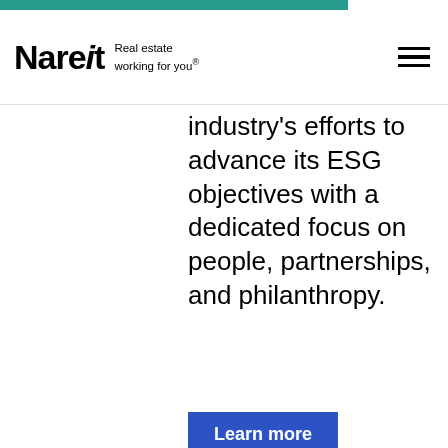[Figure (logo): Nareit logo with tagline 'Real estate working for you.']
industry's efforts to advance its ESG objectives with a dedicated focus on people, partnerships, and philanthropy.
[Figure (other): Blue 'Learn more' button]
This website uses cookies to enhance content, analyze traffic and serve advertising, ensuring you get the best experience on our website.
By continuing to use our site you are agreeing to our cookie policy.
[Figure (other): Blue 'I accept' button]